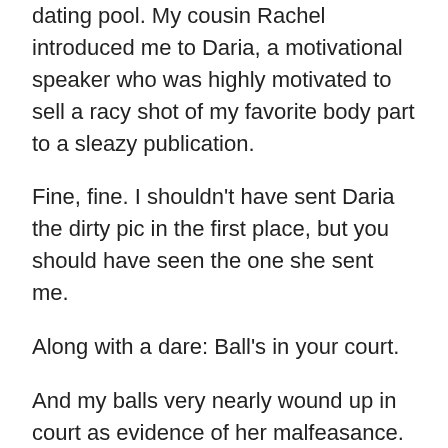dating pool. My cousin Rachel introduced me to Daria, a motivational speaker who was highly motivated to sell a racy shot of my favorite body part to a sleazy publication.
Fine, fine. I shouldn't have sent Daria the dirty pic in the first place, but you should have seen the one she sent me.
Along with a dare: Ball's in your court.
And my balls very nearly wound up in court as evidence of her malfeasance.
That was fun.
And costly. From my comfy couch, I hit send on the payment to Bentley & Cohen Partners and heave a sigh.
“Good riddance, Daria,” I mutter. I ended that fling